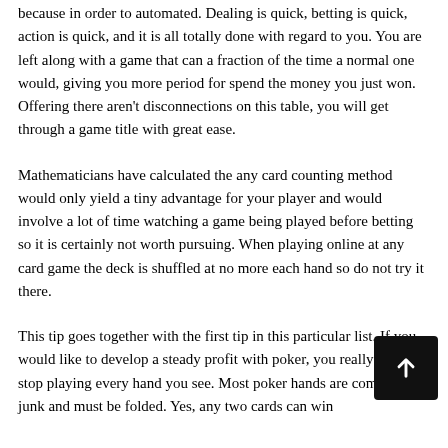because in order to automated. Dealing is quick, betting is quick, action is quick, and it is all totally done with regard to you. You are left along with a game that can a fraction of the time a normal one would, giving you more period for spend the money you just won. Offering there aren't disconnections on this table, you will get through a game title with great ease.
Mathematicians have calculated the any card counting method would only yield a tiny advantage for your player and would involve a lot of time watching a game being played before betting so it is certainly not worth pursuing. When playing online at any card game the deck is shuffled at no more each hand so do not try it there.
This tip goes together with the first tip in this particular list. If you would like to develop a steady profit with poker, you really need to stop playing every hand you see. Most poker hands are complete junk and must be folded. Yes, any two cards can win